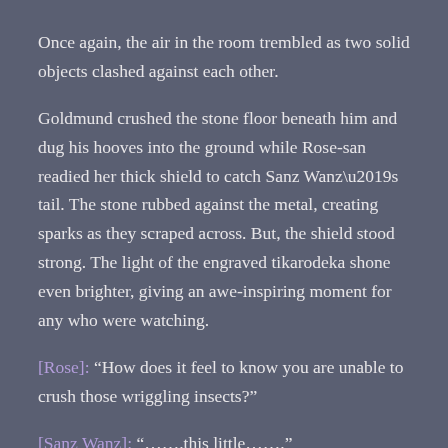Once again, the air in the room trembled as two solid objects clashed against each other.
Goldmund crushed the stone floor beneath him and dug his hooves into the ground while Rose-san readied her thick shield to catch Sanz Wanz’s tail. The stone rubbed against the metal, creating sparks as they scraped across. But, the shield stood strong. The light of the engraved tikarodeka shone even brighter, giving an awe-inspiring moment for any who were watching.
[Rose]: “How does it feel to know you are unable to crush those wriggling insects?”
[Sanz Wanz]: “…….…this little…….”